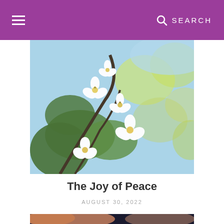≡  SEARCH
[Figure (photo): Close-up photo of white cherry blossom flowers with green leaves against a blurred background of yellow and blue/green bokeh]
The Joy of Peace
AUGUST 30, 2022
[Figure (photo): Partial photo showing a person in dark clothing with warm orange/pink light in the background and a bracelet visible]